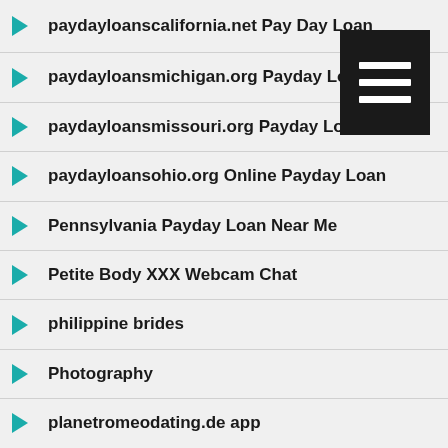paydayloanscalifornia.net Pay Day Loan
paydayloansmichigan.org Payday Loan
paydayloansmissouri.org Payday Loan Online
paydayloansohio.org Online Payday Loan
Pennsylvania Payday Loan Near Me
Petite Body XXX Webcam Chat
philippine brides
Photography
planetromeodating.de app
polyamory date review
Pornstar XXX Chat
Positive Singles adult dating